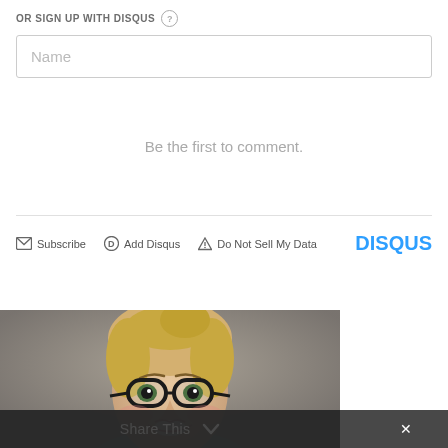OR SIGN UP WITH DISQUS ?
Name
Be the first to comment.
Subscribe   Add Disqus   Do Not Sell My Data   DISQUS
[Figure (photo): A smiling young woman with glasses and blonde hair pulled up, wearing a teal top, photographed against a gray background. A dark semi-transparent bar at the bottom reads 'Share This' with a chevron and an X close button.]